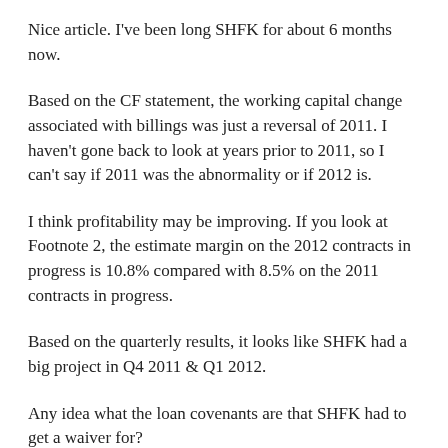Nice article. I've been long SHFK for about 6 months now.
Based on the CF statement, the working capital change associated with billings was just a reversal of 2011. I haven't gone back to look at years prior to 2011, so I can't say if 2011 was the abnormality or if 2012 is.
I think profitability may be improving. If you look at Footnote 2, the estimate margin on the 2012 contracts in progress is 10.8% compared with 8.5% on the 2011 contracts in progress.
Based on the quarterly results, it looks like SHFK had a big project in Q4 2011 & Q1 2012.
Any idea what the loan covenants are that SHFK had to get a waiver for?